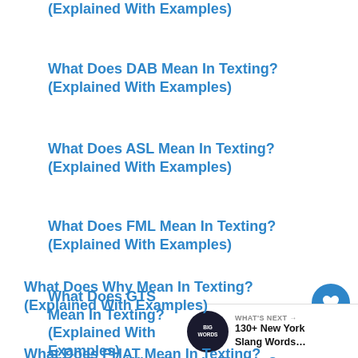(Explained With Examples)
What Does DAB Mean In Texting? (Explained With Examples)
What Does ASL Mean In Texting? (Explained With Examples)
What Does FML Mean In Texting? (Explained With Examples)
What Does GTS Mean In Texting? (Explained With Examples)
What Does Why Mean In Texting? (Explained With Examples)
What Does PHAT Mean In Texting?